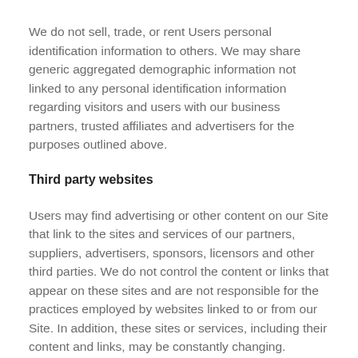We do not sell, trade, or rent Users personal identification information to others. We may share generic aggregated demographic information not linked to any personal identification information regarding visitors and users with our business partners, trusted affiliates and advertisers for the purposes outlined above.
Third party websites
Users may find advertising or other content on our Site that link to the sites and services of our partners, suppliers, advertisers, sponsors, licensors and other third parties. We do not control the content or links that appear on these sites and are not responsible for the practices employed by websites linked to or from our Site. In addition, these sites or services, including their content and links, may be constantly changing.